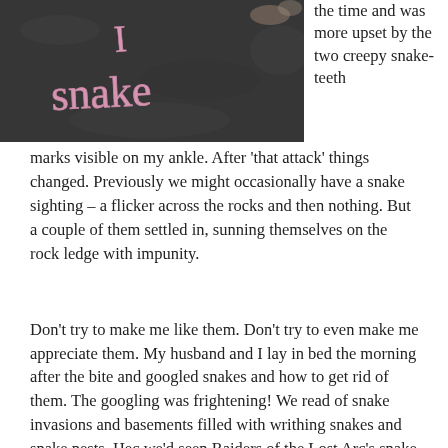[Figure (photo): Photo of dark asphalt with pink chalk writing spelling 'I snake']
the time and was more upset by the two creepy snake-teeth
marks visible on my ankle. After ‘that attack’ things changed. Previously we might occasionally have a snake sighting – a flicker across the rocks and then nothing. But a couple of them settled in, sunning themselves on the rock ledge with impunity.
Don’t try to make me like them. Don’t try to even make me appreciate them. My husband and I lay in bed the morning after the bite and googled snakes and how to get rid of them. The googling was frightening!  We read of snake invasions and basements filled with writhing snakes and snake nests.  Hec we’d seen Raiders of the Lost Arc’s snake